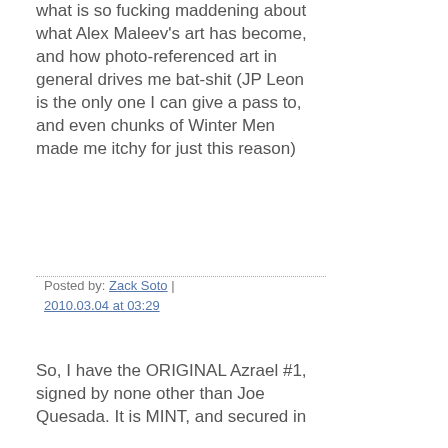what is so fucking maddening about what Alex Maleev's art has become, and how photo-referenced art in general drives me bat-shit (JP Leon is the only one I can give a pass to, and even chunks of Winter Men made me itchy for just this reason)
Posted by: Zack Soto | 2010.03.04 at 03:29
So, I have the ORIGINAL Azrael #1, signed by none other than Joe Quesada. It is MINT, and secured in